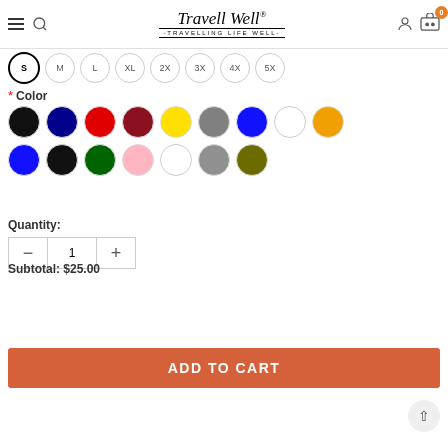Travell Well · TRAVELLING LIFE WELL
S M L XL 2X 3X 4X 5X
* Color
[Figure (infographic): Color swatches: black, dark blue, red, dark red, yellow, gray, blue, white, orange (row 1); blue, black, green, pink, white, gray, olive (row 2)]
Quantity: 1
Subtotal: $25.00
ADD TO CART